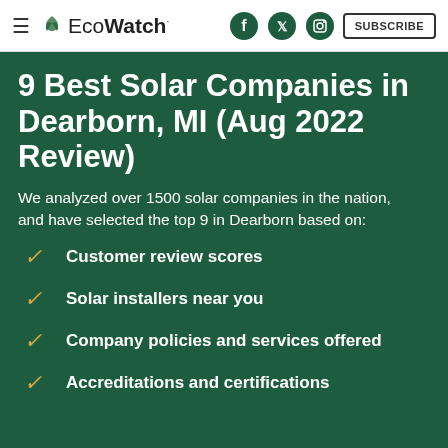EcoWatch — SUBSCRIBE
9 Best Solar Companies in Dearborn, MI (Aug 2022 Review)
We analyzed over 1500 solar companies in the nation, and have selected the top 9 in Dearborn based on:
Customer review scores
Solar installers near you
Company policies and services offered
Accreditations and certifications